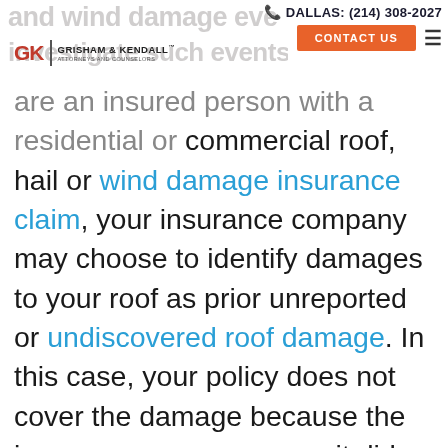and wind damage events | DALLAS: (214) 308-2027 | CONTACT US | Grisham & Kendall Attorneys and Counselors
are an insured person with a residential or commercial roof, hail or wind damage insurance claim, your insurance company may choose to identify damages to your roof as prior unreported or undiscovered roof damage. In this case, your policy does not cover the damage because the insurance company says it did not occur during the policy period. Unfortunately, these insurance companies often ignore or